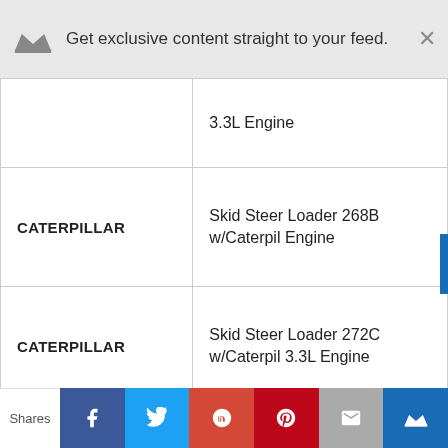Get exclusive content straight to your feed.
| Make | Model |
| --- | --- |
|  | 3.3L Engine |
| CATERPILLAR | Skid Steer Loader 268B w/Caterpil Engine |
| CATERPILLAR | Skid Steer Loader 272C w/Caterpil 3.3L Engine |
| CATERPILLAR | Skid Steer Loader 277B w/Caterpil 3.3L Engine |
|  |  |
Shares